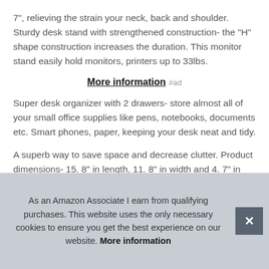7", relieving the strain your neck, back and shoulder. Sturdy desk stand with strengthened construction- the "H" shape construction increases the duration. This monitor stand easily hold monitors, printers up to 33lbs.
More information #ad
Super desk organizer with 2 drawers- store almost all of your small office supplies like pens, notebooks, documents etc. Smart phones, paper, keeping your desk neat and tidy.
A superb way to save space and decrease clutter. Product dimensions- 15. 8" in length, 11. 8" in width and 4. 7" in height, idea and no a it's a
As an Amazon Associate I earn from qualifying purchases. This website uses the only necessary cookies to ensure you get the best experience on our website. More information